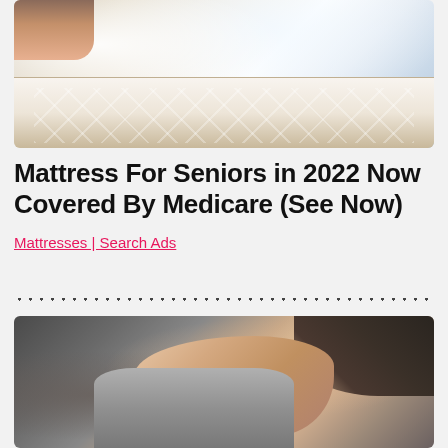[Figure (photo): Photo of a white mattress with quilted surface, person lying on it visible at the top left]
Mattress For Seniors in 2022 Now Covered By Medicare (See Now)
Mattresses | Search Ads
[Figure (photo): Close-up grayscale/muted photo of a person scratching their arm or shoulder area, hand clutching fabric of a grey shirt]